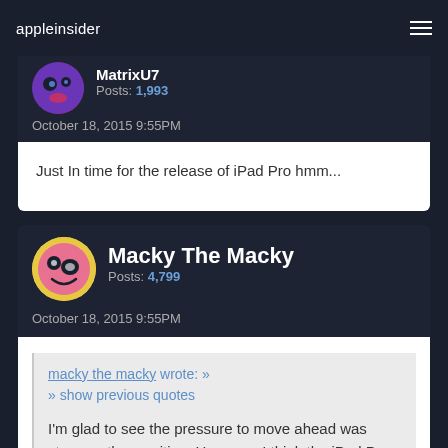appleinsider
MatrixU7
Posts: 1,993
October 18, 2015 9:55PM
Just In time for the release of iPad Pro hmm...
Macky The Macky
Posts: 4,799
October 18, 2015 9:55PM
macky the macky wrote: » » show previous quotes
I'm glad to see the pressure to move ahead was stronger then waiting. However, I think the iPad Pro will unleash the flood gates of all those who were waiting for such capabilities...